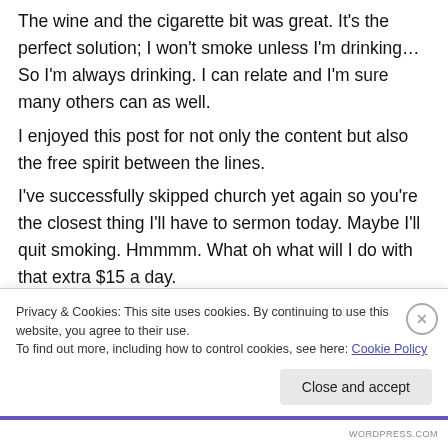The wine and the cigarette bit was great. It's the perfect solution; I won't smoke unless I'm drinking… So I'm always drinking. I can relate and I'm sure many others can as well. I enjoyed this post for not only the content but also the free spirit between the lines. I've successfully skipped church yet again so you're the closest thing I'll have to sermon today. Maybe I'll quit smoking. Hmmmm. What oh what will I do with that extra $15 a day.
Privacy & Cookies: This site uses cookies. By continuing to use this website, you agree to their use. To find out more, including how to control cookies, see here: Cookie Policy
Close and accept